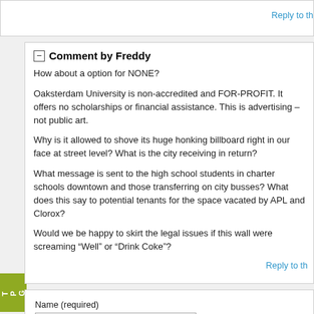Reply to th
Comment by Freddy
How about a option for NONE?
Oaksterdam University is non-accredited and FOR-PROFIT. It offers no scholarships or financial assistance. This is advertising – not public art.
Why is it allowed to shove its huge honking billboard right in our face at street level? What is the city receiving in return?
What message is sent to the high school students in charter schools downtown and those transferring on city busses? What does this say to potential tenants for the space vacated by APL and Clorox?
Would we be happy to skirt the legal issues if this wall were screaming "Well" or "Drink Coke"?
Reply to th
Name (required)
E-mail (required - never shown publicly)